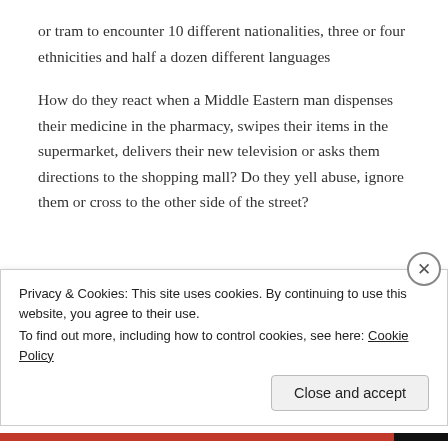or tram to encounter 10 different nationalities, three or four ethnicities and half a dozen different languages
How do they react when a Middle Eastern man dispenses their medicine in the pharmacy, swipes their items in the supermarket, delivers their new television or asks them directions to the shopping mall? Do they yell abuse, ignore them or cross to the other side of the street?
Privacy & Cookies: This site uses cookies. By continuing to use this website, you agree to their use.
To find out more, including how to control cookies, see here: Cookie Policy
Close and accept